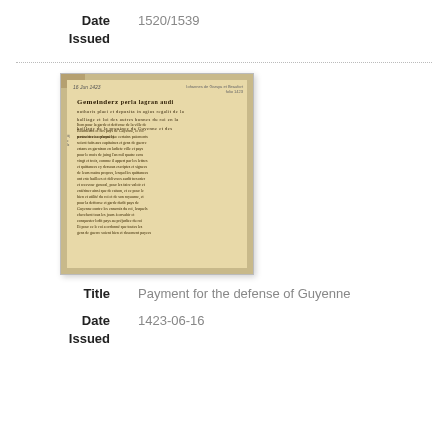Date Issued
1520/1539
[Figure (photo): Photograph of a historical manuscript page with gothic script heading and handwritten text in medieval French or Latin, dated 1423.]
Title   Payment for the defense of Guyenne
Date Issued   1423-06-16